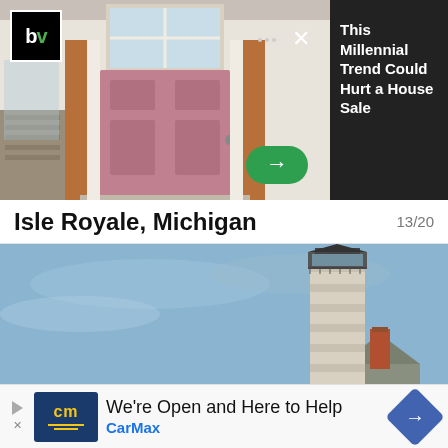[Figure (photo): Advertisement banner showing a pink front door of a house on left side with dark background on right showing article teaser text. Contains 'bv' logo in top left, X close button, green arrow button, and 'This Millennial Trend Could Hurt a House Sale' text.]
Isle Royale, Michigan	13/20
[Figure (photo): Lighthouse photo against blue sky. A tall stone lighthouse tower on the right side, and a smaller building with a brick chimney in the foreground. Pinterest icon overlay in top left.]
We're Open and Here to Help
CarMax